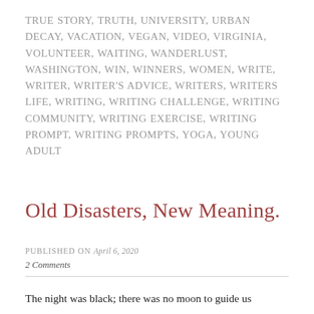TRUE STORY, TRUTH, UNIVERSITY, URBAN DECAY, VACATION, VEGAN, VIDEO, VIRGINIA, VOLUNTEER, WAITING, WANDERLUST, WASHINGTON, WIN, WINNERS, WOMEN, WRITE, WRITER, WRITER'S ADVICE, WRITERS, WRITERS LIFE, WRITING, WRITING CHALLENGE, WRITING COMMUNITY, WRITING EXERCISE, WRITING PROMPT, WRITING PROMPTS, YOGA, YOUNG ADULT
Old Disasters, New Meaning.
PUBLISHED ON April 6, 2020
2 Comments
The night was black; there was no moon to guide us